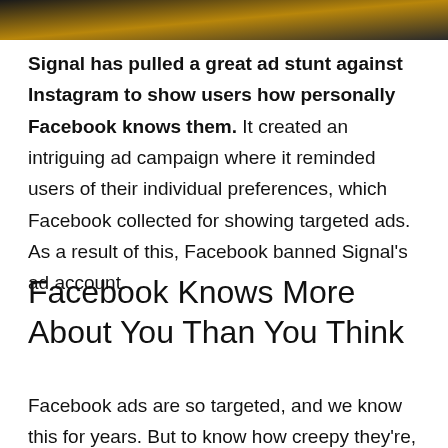[Figure (photo): Top portion of an image with dark background and warm golden/orange tones, likely a header image for the article.]
Signal has pulled a great ad stunt against Instagram to show users how personally Facebook knows them. It created an intriguing ad campaign where it reminded users of their individual preferences, which Facebook collected for showing targeted ads. As a result of this, Facebook banned Signal's ad account.
Facebook Knows More About You Than You Think
Facebook ads are so targeted, and we know this for years. But to know how creepy they're, you